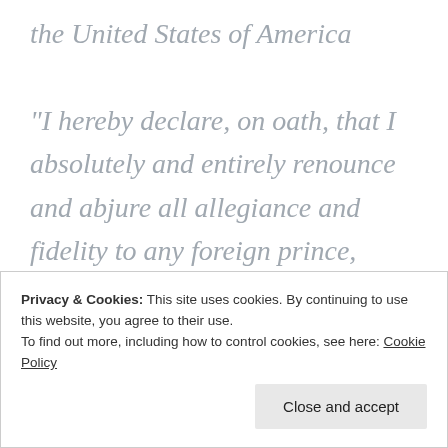the United States of America

“I hereby declare, on oath, that I absolutely and entirely renounce and abjure all allegiance and fidelity to any foreign prince, potentate, state, or sovereignty, of whom or which I have heretofore been a subject or citizen; that I will support and defend
Privacy & Cookies: This site uses cookies. By continuing to use this website, you agree to their use.
To find out more, including how to control cookies, see here: Cookie Policy
will bear true faith and allegiance to